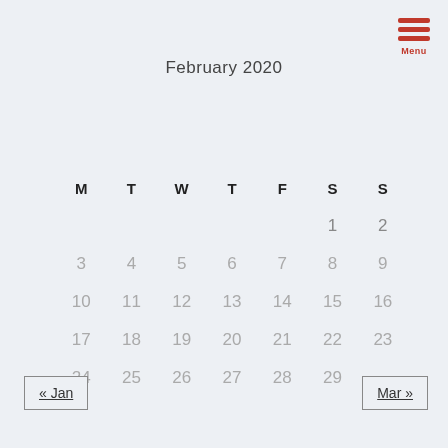[Figure (other): Hamburger menu icon with three red horizontal bars and 'Menu' label below]
February 2020
| M | T | W | T | F | S | S |
| --- | --- | --- | --- | --- | --- | --- |
|  |  |  |  |  | 1 | 2 |
| 3 | 4 | 5 | 6 | 7 | 8 | 9 |
| 10 | 11 | 12 | 13 | 14 | 15 | 16 |
| 17 | 18 | 19 | 20 | 21 | 22 | 23 |
| 24 | 25 | 26 | 27 | 28 | 29 |  |
« Jan
Mar »